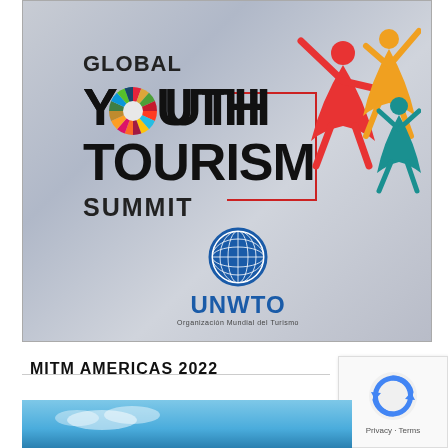[Figure (logo): Global Youth Tourism Summit banner with UNWTO logo and colorful people figures. Text reads: GLOBAL YOUTH TOURISM SUMMIT with SDG wheel integrated in the O of YOUTH, connected by red lines to three illustrated figures on the right. Below: UNWTO globe logo with text 'Organización Mundial del Turismo'.]
MITM AMERICAS 2022
[Figure (photo): Partial view of a blue-sky outdoor photo, bottom of the page.]